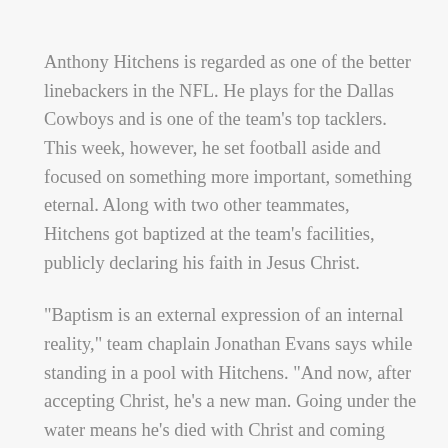Anthony Hitchens is regarded as one of the better linebackers in the NFL. He plays for the Dallas Cowboys and is one of the team's top tacklers. This week, however, he set football aside and focused on something more important, something eternal. Along with two other teammates, Hitchens got baptized at the team's facilities, publicly declaring his faith in Jesus Christ.
“Baptism is an external expression of an internal reality,” team chaplain Jonathan Evans says while standing in a pool with Hitchens. “And now, after accepting Christ, he’s a new man. Going under the water means he’s died with Christ and coming back up means he’s resurrected to the